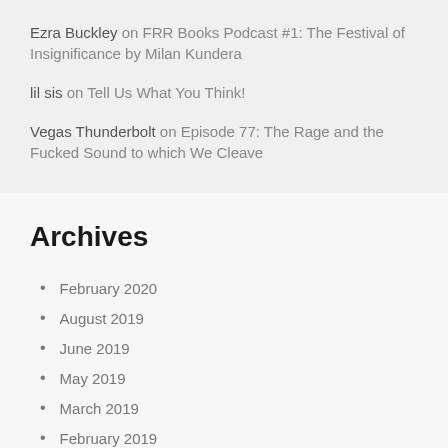Ezra Buckley on FRR Books Podcast #1: The Festival of Insignificance by Milan Kundera
lil sis on Tell Us What You Think!
Vegas Thunderbolt on Episode 77: The Rage and the Fucked Sound to which We Cleave
Archives
February 2020
August 2019
June 2019
May 2019
March 2019
February 2019
January 2019